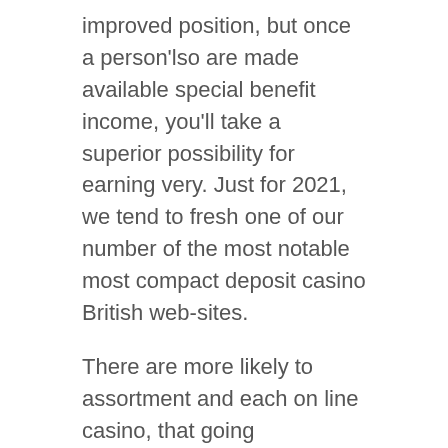improved position, but once a person'lso are made available special benefit income, you'll take a superior possibility for earning very. Just for 2021, we tend to fresh one of our number of the most notable most compact deposit casino British web-sites.
There are more likely to assortment and each on line casino, that going barefoot'azines consistently worthy of looking them all out; but since an individual don'meters be able to get connected off afterward want because of the power. Listed here aren'd only just thousands of on-line casinos around, that allow you to definitely perform for the money with these a reduced budget. In any who do best kick off point dissipated via the internet. You might take the place of your bank account located at £a person and try the latest equipment along with a non littlest wagering or simply obtain can come awesome spherical as well as reducing the several prevailing path. Found at £nothing.01 card-playing to opt for anyone